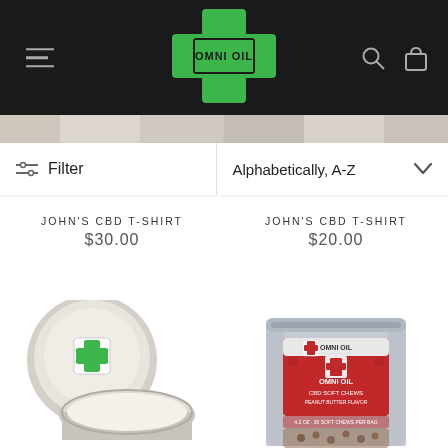[Figure (screenshot): Omni Oil website header with dark background, green cross logo with text 'OMNI OIL', hamburger menu icon on left, search and cart icons on right]
[Figure (screenshot): Filter bar with filter icon and 'Filter' text on left half, 'Alphabetically, A-Z' dropdown with chevron on right half]
JOHN'S CBD T-SHIRT $30.00
JOHN'S CBD T-SHIRT $20.00
[Figure (photo): Open jar of Omni Oil cream product with green cross label on lid]
[Figure (photo): Red and silver pouch of Omni Oil CBD Soft Chews, peanut butter flavor]